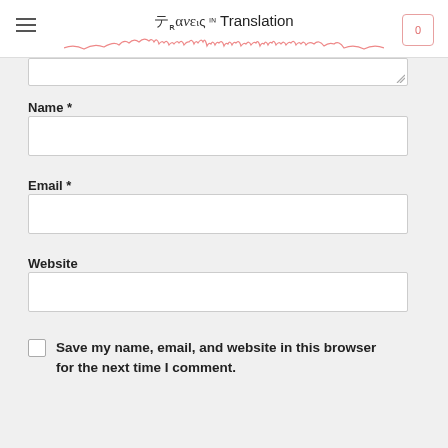Travels in Translation
Name *
Email *
Website
Save my name, email, and website in this browser for the next time I comment.